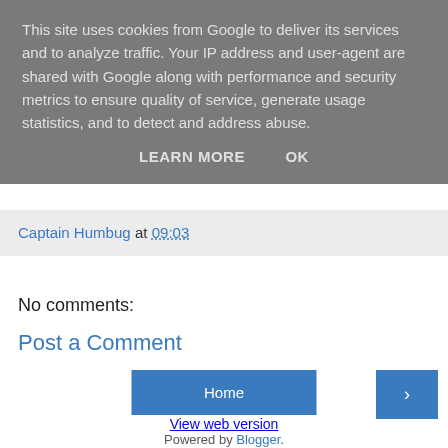This site uses cookies from Google to deliver its services and to analyze traffic. Your IP address and user-agent are shared with Google along with performance and security metrics to ensure quality of service, generate usage statistics, and to detect and address abuse.
LEARN MORE   OK
Captain Humbug at 09:03
No comments:
Post a Comment
Home
›
View web version
Powered by Blogger.